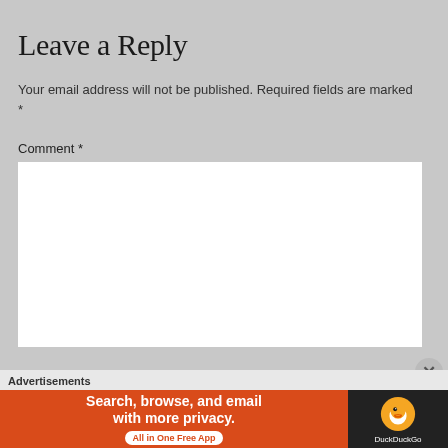Leave a Reply
Your email address will not be published. Required fields are marked *
Comment *
[Figure (screenshot): Empty white comment text area input box]
Advertisements
[Figure (infographic): DuckDuckGo advertisement banner: 'Search, browse, and email with more privacy. All in One Free App' with DuckDuckGo duck logo on dark background]